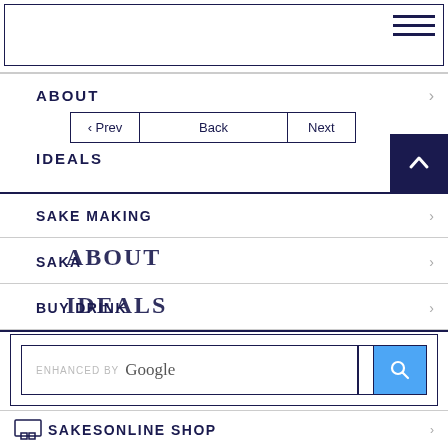[Figure (screenshot): Top navigation bar with search input and hamburger menu icon]
ABOUT
[Figure (screenshot): Prev, Back, Next navigation buttons]
IDEALS
SAKE MAKING
SAKA / ABOUT
BUY DRINK / IDEALS
[Figure (screenshot): Enhanced by Google search bar with search button]
SAKES ONLINE SHOP